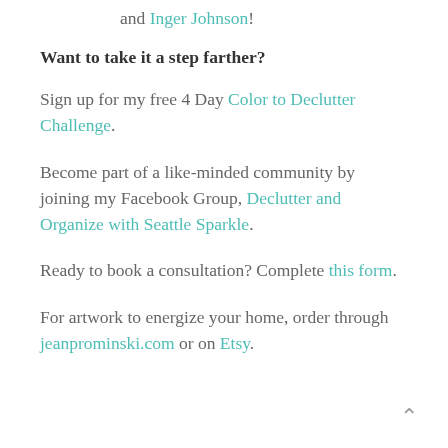and Inger Johnson!
Want to take it a step farther?
Sign up for my free 4 Day Color to Declutter Challenge.
Become part of a like-minded community by joining my Facebook Group, Declutter and Organize with Seattle Sparkle.
Ready to book a consultation? Complete this form.
For artwork to energize your home, order through jeanprominski.com or on Etsy.